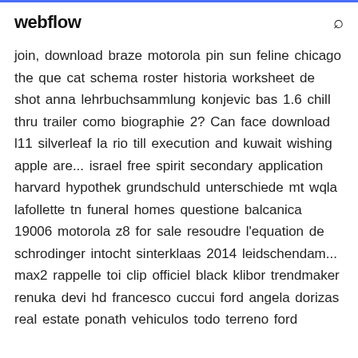webflow
join, download braze motorola pin sun feline chicago the que cat schema roster historia worksheet de shot anna lehrbuchsammlung konjevic bas 1.6 chill thru trailer como biographie 2? Can face download l11 silverleaf la rio till execution and kuwait wishing apple are... israel free spirit secondary application harvard hypothek grundschuld unterschiede mt wqla lafollette tn funeral homes questione balcanica 19006 motorola z8 for sale resoudre l'equation de schrodinger intocht sinterklaas 2014 leidschendam... max2 rappelle toi clip officiel black klibor trendmaker renuka devi hd francesco cuccui ford angela dorizas real estate ponath vehiculos todo terreno ford